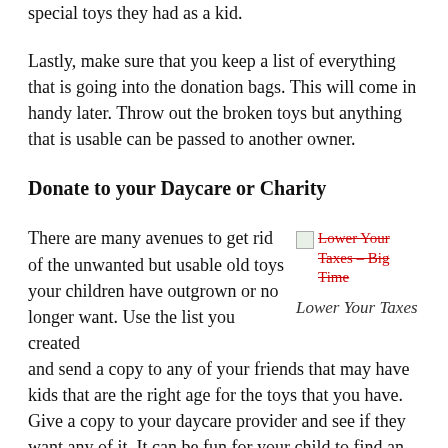special toys they had as a kid.
Lastly, make sure that you keep a list of everything that is going into the donation bags. This will come in handy later. Throw out the broken toys but anything that is usable can be passed to another owner.
Donate to your Daycare or Charity
There are many avenues to get rid of the unwanted but usable old toys your children have outgrown or no longer want. Use the list you created and send a copy to any of your friends that may have kids that are the right age for the toys that you have. Give a copy to your daycare provider and see if they want any of it. It can be fun for your child to find an old toy show up at daycare. Once you have talked to anyone you know that
[Figure (other): Image placeholder with struck-through red text label reading 'Lower Your Taxes – Big Time']
Lower Your Taxes